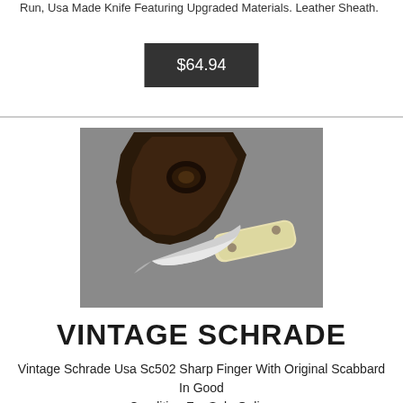Run, Usa Made Knife Featuring Upgraded Materials. Leather Sheath.
$64.94
[Figure (photo): Photo of a vintage Schrade knife with cream/ivory colored handle and silver blade, alongside a dark brown leather sheath on a grey background]
VINTAGE SCHRADE
Vintage Schrade Usa Sc502 Sharp Finger With Original Scabbard In Good Condition For Sale Online